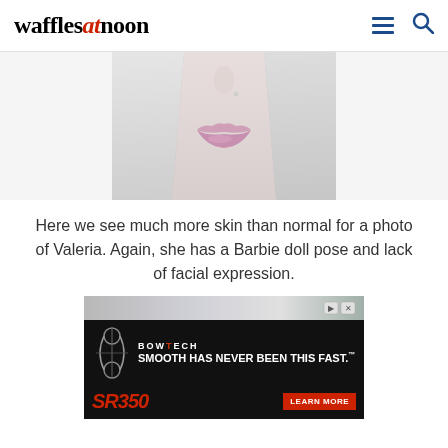wafflesatnoon
[Figure (photo): Close-up photo of a woman's face with blonde hair, pink lips, and a Barbie doll expression]
Here we see much more skin than normal for a photo of Valeria. Again, she has a Barbie doll pose and lack of facial expression.
[Figure (other): Bowtech advertisement: SMOOTH HAS NEVER BEEN THIS FAST. SR350 LEARN MORE]